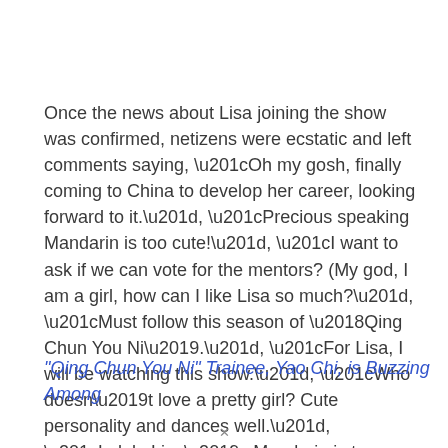Once the news about Lisa joining the show was confirmed, netizens were ecstatic and left comments saying, “Oh my gosh, finally coming to China to develop her career, looking forward to it.”, “Precious speaking Mandarin is too cute!”, “I want to ask if we can vote for the mentors? (My god, I am a girl, how can I like Lisa so much?”, “Must follow this season of ‘Qing Chun You Ni’.”, “For Lisa, I will be watching this show.”, “Who doesn’t love a pretty girl? Cute personality and dances well.”, “Lalala Lisa’s Mandarin is too cute.”
“Qing Chun You Ni” Trainee, Yao Chi, is Buzzing Among